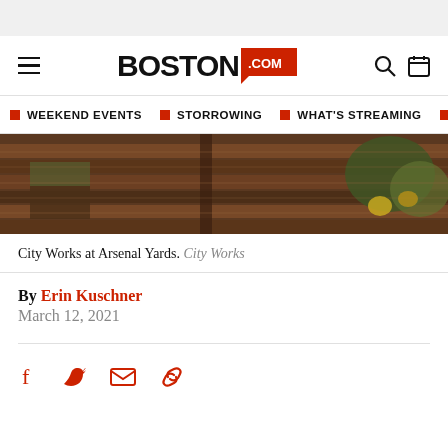Boston.com
WEEKEND EVENTS | STORROWING | WHAT'S STREAMING | LO...
[Figure (photo): Exterior photo of City Works at Arsenal Yards — wooden fence/deck structure with green plants, warm sunlit tones]
City Works at Arsenal Yards. City Works
By Erin Kuschner
March 12, 2021
[Figure (infographic): Social sharing icons: Facebook, Twitter, Email, Link]